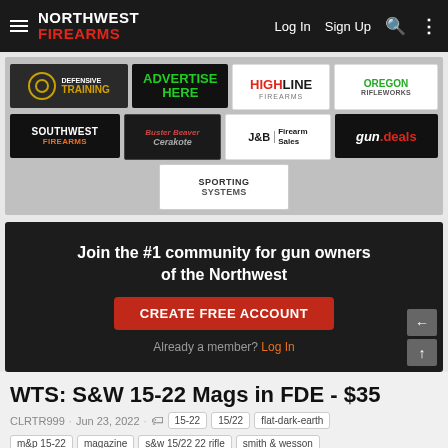NORTHWEST FIREARMS — Log In | Sign Up
[Figure (infographic): Advertisement banner area with multiple sponsor logos: Defensive Training, Advertise Here, Highline Firearms, Oregon Rifleworks, Southwest Firearms, Buster Beaver Cerakote, J&B Firearm Sales, gun.deals, Sporting Systems]
[Figure (infographic): Dark banner: Join the #1 community for gun owners of the Northwest. CREATE FREE ACCOUNT button. Already a member? Log In]
WTS: S&W 15-22 Mags in FDE - $35
CLRTR999 · Jun 23, 2022 · 15-22  15/22  flat-dark-earth  m&p 15-22  magazine  s&w 15/22 22 rifle  smith & wesson